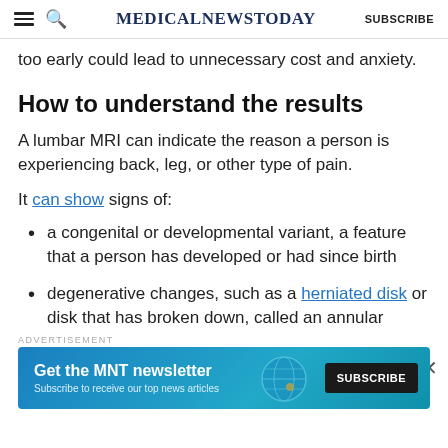MedicalNewsToday   SUBSCRIBE
too early could lead to unnecessary cost and anxiety.
How to understand the results
A lumbar MRI can indicate the reason a person is experiencing back, leg, or other type of pain.
It can show signs of:
a congenital or developmental variant, a feature that a person has developed or had since birth
degenerative changes, such as a herniated disk or disk that has broken down, called an annular
ADVERTISEMENT
[Figure (screenshot): Advertisement banner for MNT newsletter subscription with blue gradient background, text 'Get the MNT newsletter', subscribe button, and globe graphic]